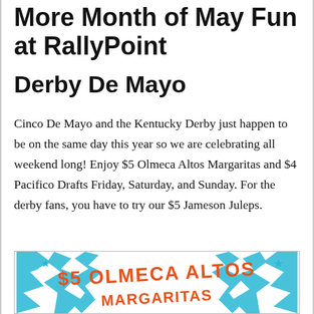More Month of May Fun at RallyPoint
Derby De Mayo
Cinco De Mayo and the Kentucky Derby just happen to be on the same day this year so we are celebrating all weekend long! Enjoy $5 Olmeca Altos Margaritas and $4 Pacifico Drafts Friday, Saturday, and Sunday. For the derby fans, you have to try our $5 Jameson Juleps.
[Figure (illustration): Promotional graphic with blue decorative elements and orange text reading '$5 OLMECA ALTOS MARGARITAS']